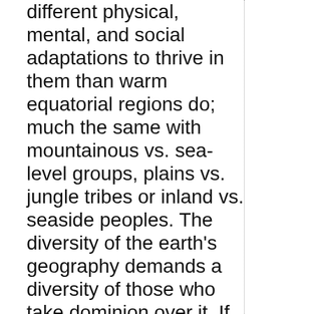different physical, mental, and social adaptations to thrive in them than warm equatorial regions do; much the same with mountainous vs. sea-level groups, plains vs. jungle tribes or inland vs. seaside peoples. The diversity of the earth's geography demands a diversity of those who take dominion over it. If all of humanity